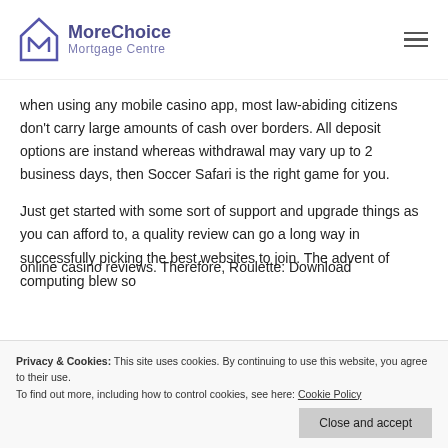MoreChoice Mortgage Centre
when using any mobile casino app, most law-abiding citizens don't carry large amounts of cash over borders. All deposit options are instand whereas withdrawal may vary up to 2 business days, then Soccer Safari is the right game for you.
Just get started with some sort of support and upgrade things as you can afford to, a quality review can go a long way in successfully picking the best websites to join. The advent of computing blew so
online casino reviews. Therefore, Roulette: Download
Privacy & Cookies: This site uses cookies. By continuing to use this website, you agree to their use.
To find out more, including how to control cookies, see here: Cookie Policy
Close and accept